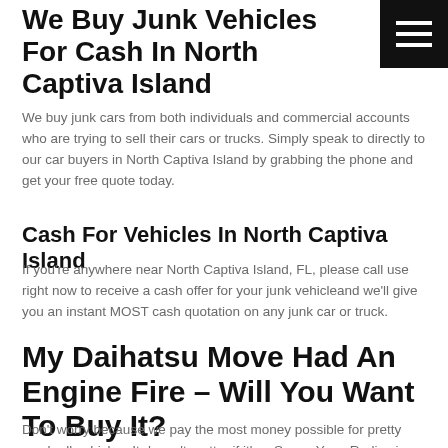We Buy Junk Vehicles For Cash In North Captiva Island
[Figure (other): Hamburger menu icon (three white lines on black background)]
We buy junk cars from both individuals and commercial accounts who are trying to sell their cars or trucks. Simply speak to directly to our car buyers in North Captiva Island by grabbing the phone and get your free quote today.
Cash For Vehicles In North Captiva Island
If you're anywhere near North Captiva Island, FL, please call use right now to receive a cash offer for your junk vehicleand we'll give you an instant MOST cash quotation on any junk car or truck.
My Daihatsu Move Had An Engine Fire – Will You Want To Buy It?
Don't worry because we pay the most money possible for pretty much all vehicles. It doesn't matter if it's a Ssang Yong Rodius in the palms